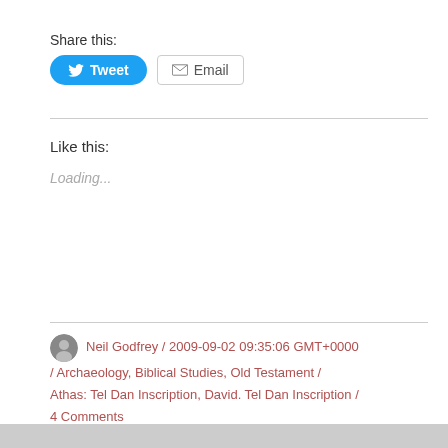Share this:
[Figure (screenshot): Tweet button (blue rounded) and Email button (grey outlined) for sharing]
Like this:
Loading...
Neil Godfrey / 2009-09-02 09:35:06 GMT+0000 / Archaeology, Biblical Studies, Old Testament / Athas: Tel Dan Inscription, David. Tel Dan Inscription / 4 Comments